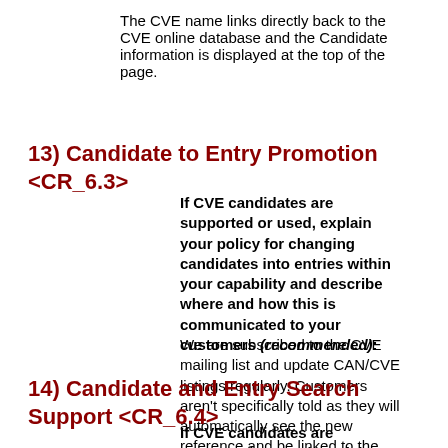The CVE name links directly back to the CVE online database and the Candidate information is displayed at the top of the page.
13) Candidate to Entry Promotion <CR_6.3>
If CVE candidates are supported or used, explain your policy for changing candidates into entries within your capability and describe where and how this is communicated to your customers (recommended):
We are subscribed to the CVE mailing list and update CAN/CVE listings regularly. Customers aren't specifically told as they will automatically see the new reference and be linked to the correct definition.
14) Candidate and Entry Search Support <CR_6.4>
If CVE candidates are supported or used, explain where and how a customer can find